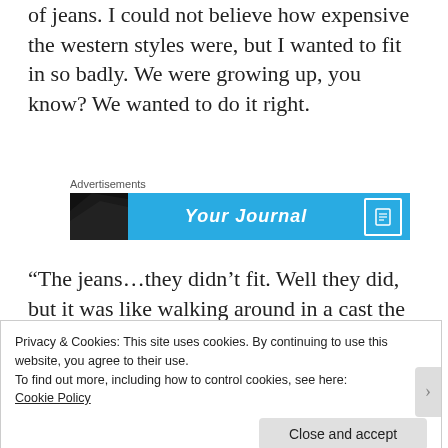of jeans. I could not believe how expensive the western styles were, but I wanted to fit in so badly. We were growing up, you know? We wanted to do it right.
[Figure (screenshot): Advertisement banner with blue background showing 'Your Journal' text with a shoe image and book icon]
“The jeans…they didn’t fit. Well they did, but it was like walking around in a cast the doctor
Privacy & Cookies: This site uses cookies. By continuing to use this website, you agree to their use.
To find out more, including how to control cookies, see here:
Cookie Policy
Close and accept